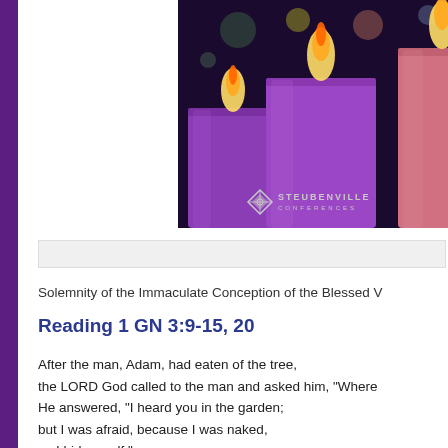[Figure (photo): Advent candles photo — three large pillar candles (two purple, one pink/rose) with flames, bokeh lights in background, Steubenville Conferences logo overlaid bottom-left]
Solemnity of the Immaculate Conception of the Blessed V
Reading 1 GN 3:9-15, 20
After the man, Adam, had eaten of the tree,
the LORD God called to the man and asked him, "Where
He answered, "I heard you in the garden;
but I was afraid, because I was naked,
so I hid myself."